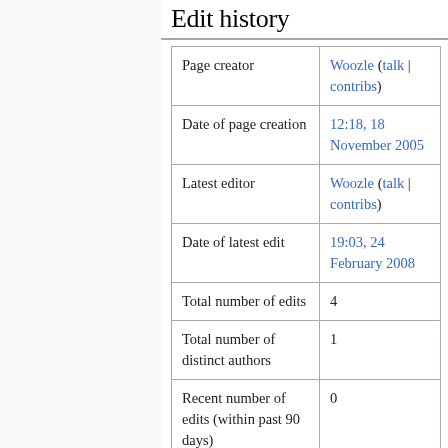Edit history
|  |  |
| --- | --- |
| Page creator | Woozle (talk | contribs) |
| Date of page creation | 12:18, 18 November 2005 |
| Latest editor | Woozle (talk | contribs) |
| Date of latest edit | 19:03, 24 February 2008 |
| Total number of edits | 4 |
| Total number of distinct authors | 1 |
| Recent number of edits (within past 90 days) | 0 |
| Recent number of distinct authors | 0 |